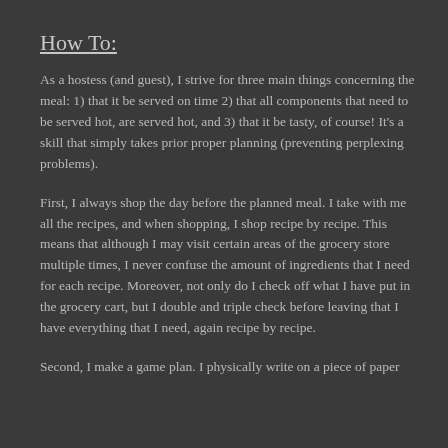How To:
As a hostess (and guest), I strive for three main things concerning the meal:   1) that it be served on time 2) that all components that need to be served hot, are served hot, and 3) that it be tasty, of course!  It's a skill that simply takes prior proper planning (preventing perplexing problems).
First, I always shop the day before the planned meal.  I take with me all the recipes, and when shopping, I shop recipe by recipe.  This means that although I may visit certain areas of the grocery store multiple times, I never confuse the amount of ingredients that I need for each recipe.  Moreover, not only do I check off what I have put in the grocery cart, but I double and triple check before leaving that I have everything that I need, again recipe by recipe.
Second, I make a game plan.  I physically write on a piece of paper